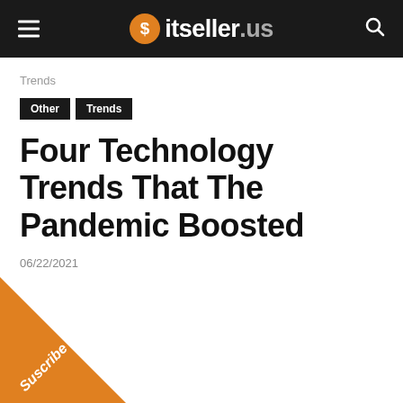itseller.us
Trends
Other  Trends
Four Technology Trends That The Pandemic Boosted
06/22/2021
[Figure (illustration): Orange diagonal corner ribbon with white italic text 'Suscribe']